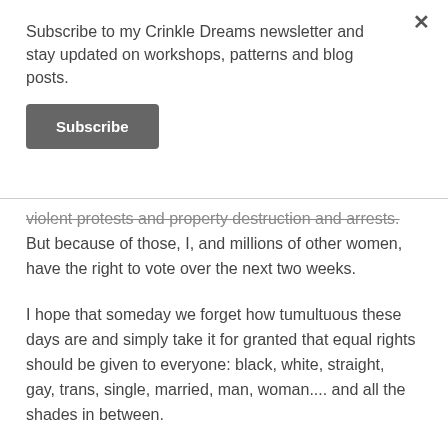Subscribe to my Crinkle Dreams newsletter and stay updated on workshops, patterns and blog posts.
Subscribe
violent protests and property destruction and arrests. But because of those, I, and millions of other women, have the right to vote over the next two weeks.
I hope that someday we forget how tumultuous these days are and simply take it for granted that equal rights should be given to everyone: black, white, straight, gay, trans, single, married, man, woman.... and all the shades in between.
Please vote for equality and justice.